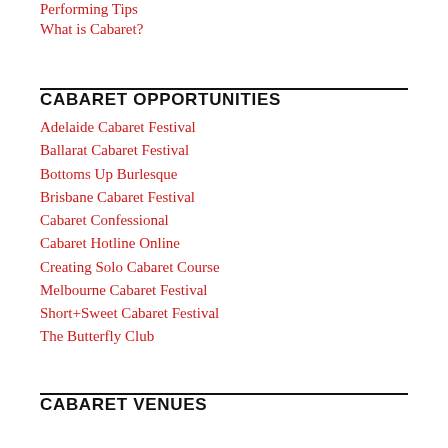Performing Tips
What is Cabaret?
CABARET OPPORTUNITIES
Adelaide Cabaret Festival
Ballarat Cabaret Festival
Bottoms Up Burlesque
Brisbane Cabaret Festival
Cabaret Confessional
Cabaret Hotline Online
Creating Solo Cabaret Course
Melbourne Cabaret Festival
Short+Sweet Cabaret Festival
The Butterfly Club
CABARET VENUES